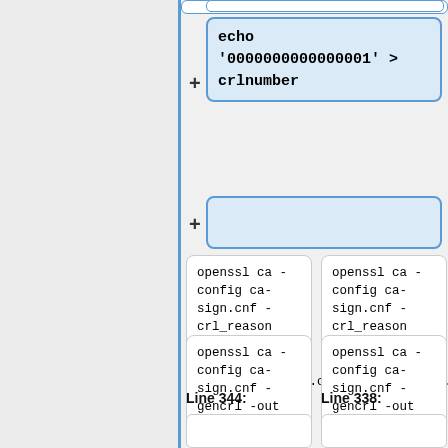[Figure (screenshot): Diff/comparison view showing two columns of code blocks. Left side is gray panel. Right side shows highlighted boxes with code: 'echo 0000000000000001 > crlnumber', an empty added box, two command boxes with 'openssl ca -config ca-sign.cnf -crl_reason superseded -revoke 5FE840894254A22.crt', two more boxes with 'openssl ca -config ca-sign.cnf -gencrl -out crl.pem', and line labels 'Line 344:' and 'Line 338:']